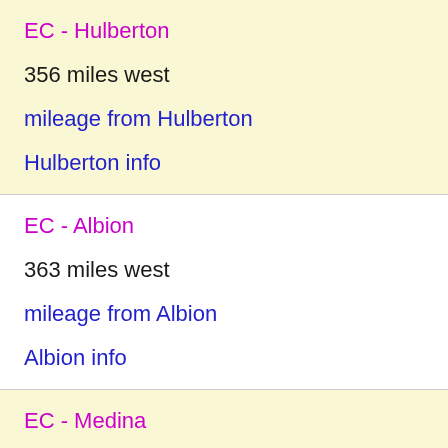EC - Hulberton
356 miles west
mileage from Hulberton
Hulberton info
EC - Albion
363 miles west
mileage from Albion
Albion info
EC - Medina